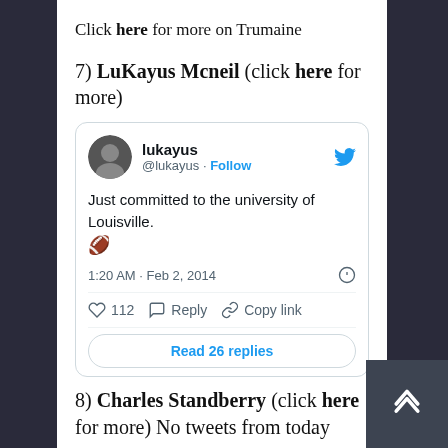Click here for more on Trumaine
7) LuKayus Mcneil (click here for more)
[Figure (screenshot): Embedded tweet from @lukayus: 'Just committed to the university of Louisville. 🏈' posted at 1:20 AM · Feb 2, 2014. 112 likes, Reply, Copy link, Read 26 replies.]
8) Charles Standberry (click here for more) No tweets from today